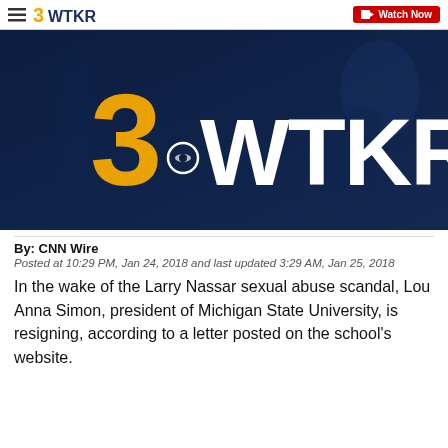3WTKR | Watch Now
[Figure (screenshot): 3WTKR television station logo displayed on a dark navy blue background with studio equipment visible]
By: CNN Wire
Posted at 10:29 PM, Jan 24, 2018 and last updated 3:29 AM, Jan 25, 2018
In the wake of the Larry Nassar sexual abuse scandal, Lou Anna Simon, president of Michigan State University, is resigning, according to a letter posted on the school’s website.